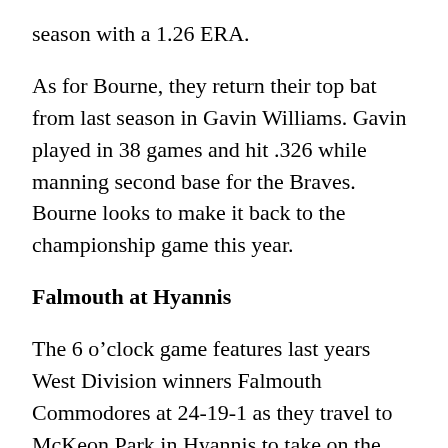season with a 1.26 ERA.
As for Bourne, they return their top bat from last season in Gavin Williams. Gavin played in 38 games and hit .326 while manning second base for the Braves. Bourne looks to make it back to the championship game this year.
Falmouth at Hyannis
The 6 o’clock game features last years West Division winners Falmouth Commodores at 24-19-1 as they travel to McKeon Park in Hyannis to take on the Harbor Hawks who finished last in the West at 16-25-3.
Falmouth boasted a run differential of +21 in 2017, and they look to continue this trend with a new group of